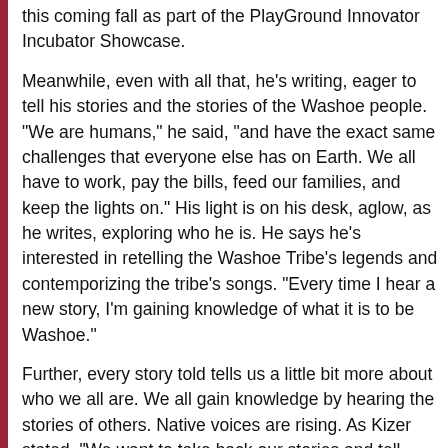this coming fall as part of the PlayGround Innovator Incubator Showcase.
Meanwhile, even with all that, he's writing, eager to tell his stories and the stories of the Washoe people. "We are humans," he said, "and have the exact same challenges that everyone else has on Earth. We all have to work, pay the bills, feed our families, and keep the lights on." His light is on his desk, aglow, as he writes, exploring who he is. He says he's interested in retelling the Washoe Tribe's legends and contemporizing the tribe's songs. "Every time I hear a new story, I'm gaining knowledge of what it is to be Washoe."
Further, every story told tells us a little bit more about who we all are. We all gain knowledge by hearing the stories of others. Native voices are rising. As Kizer stated, "We want to take back our stories and tell